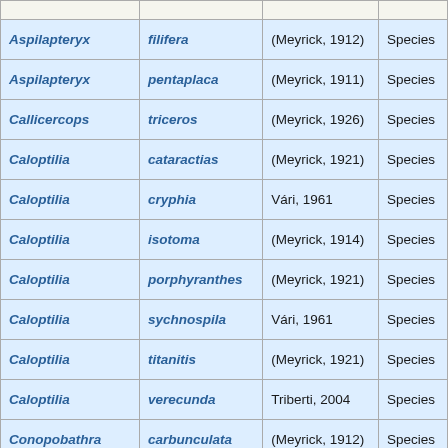| Aspilapteryx | filifera | (Meyrick, 1912) | Species |
| Aspilapteryx | pentaplaca | (Meyrick, 1911) | Species |
| Callicercops | triceros | (Meyrick, 1926) | Species |
| Caloptilia | cataractias | (Meyrick, 1921) | Species |
| Caloptilia | cryphia | Vári, 1961 | Species |
| Caloptilia | isotoma | (Meyrick, 1914) | Species |
| Caloptilia | porphyranthes | (Meyrick, 1921) | Species |
| Caloptilia | sychnospila | Vári, 1961 | Species |
| Caloptilia | titanitis | (Meyrick, 1921) | Species |
| Caloptilia | verecunda | Triberti, 2004 | Species |
| Conopobathra | carbunculata | (Meyrick, 1912) | Species |
| Conopobathra | geraea | Vári, 1961 | Species |
| Conopobathra | gravissima | (Meyrick, 1912) | Species |
| Conopobathra | plethorhabda | Vári, 1961 | Species |